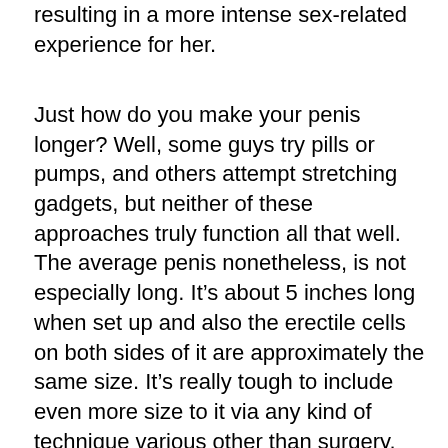resulting in a more intense sex-related experience for her.
Just how do you make your penis longer? Well, some guys try pills or pumps, and others attempt stretching gadgets, but neither of these approaches truly function all that well. The average penis nonetheless, is not especially long. It’s about 5 inches long when set up and also the erectile cells on both sides of it are approximately the same size. It’s really tough to include even more size to it via any kind of technique various other than surgery. Fortunately, there are lots of other means to obtain a longer penis, although you have to exercise as well as make use of various techniques.